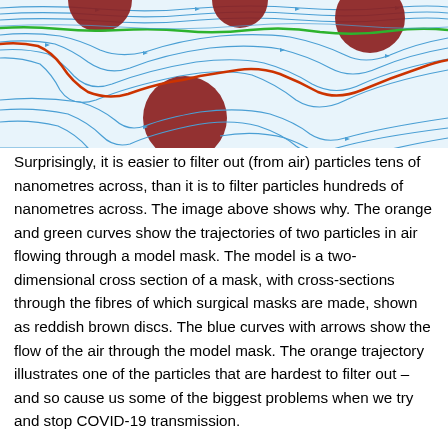[Figure (illustration): Scientific illustration showing a two-dimensional cross section of a model mask. Blue streamlines with arrows show air flow moving left to right around reddish-brown circular discs (cross-sections of mask fibres). A green curve and an orange/red curve trace particle trajectories through the flowing air between the fibres.]
Surprisingly, it is easier to filter out (from air) particles tens of nanometres across, than it is to filter particles hundreds of nanometres across. The image above shows why. The orange and green curves show the trajectories of two particles in air flowing through a model mask. The model is a two-dimensional cross section of a mask, with cross-sections through the fibres of which surgical masks are made, shown as reddish brown discs. The blue curves with arrows show the flow of the air through the model mask. The orange trajectory illustrates one of the particles that are hardest to filter out – and so cause us some of the biggest problems when we try and stop COVID-19 transmission.